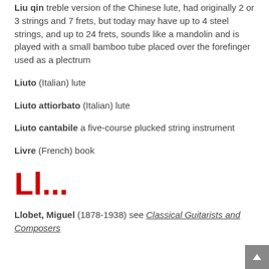Liu qin treble version of the Chinese lute, had originally 2 or 3 strings and 7 frets, but today may have up to 4 steel strings, and up to 24 frets, sounds like a mandolin and is played with a small bamboo tube placed over the forefinger used as a plectrum
Liuto (Italian) lute
Liuto attiorbato (Italian) lute
Liuto cantabile a five-course plucked string instrument
Livre (French) book
Ll...
Llobet, Miguel (1878-1938) see Classical Guitarists and Composers